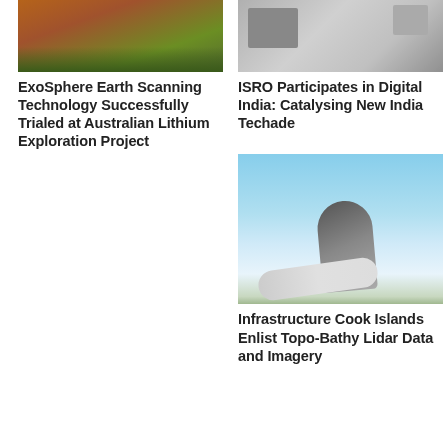[Figure (photo): Aerial view of mining site with reddish earth and green vegetation]
ExoSphere Earth Scanning Technology Successfully Trialed at Australian Lithium Exploration Project
[Figure (photo): Outdoor equipment or infrastructure, grey tones, possibly satellite or tech hardware]
ISRO Participates in Digital India: Catalysing New India Techade
[Figure (photo): View from airplane window showing wing tip against blue sky and clouds]
Infrastructure Cook Islands Enlist Topo-Bathy Lidar Data and Imagery